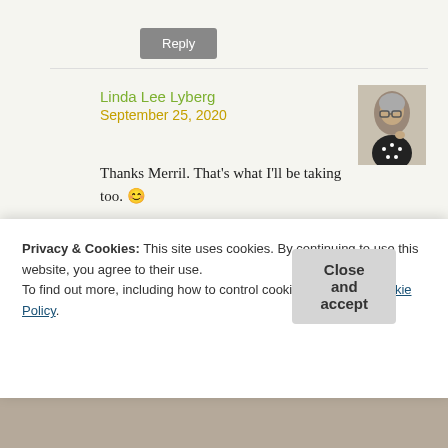Reply
Linda Lee Lyberg
September 25, 2020
Thanks Merril. That's what I'll be taking too. 😊
★ Liked by 1 person
Reply
Privacy & Cookies: This site uses cookies. By continuing to use this website, you agree to their use.
To find out more, including how to control cookies, see here: Cookie Policy
Close and accept